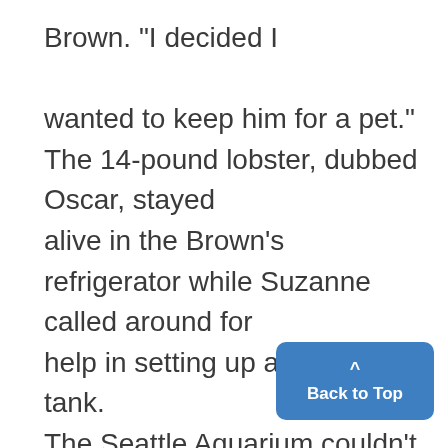Brown. "I decided I

wanted to keep him for a pet." The 14-pound lobster, dubbed Oscar, stayed alive in the Brown's refrigerator while Suzanne called around for help in setting up a lobster tank. The Seattle Aquarium couldn't help, nor could the University of Washington. So Gary Gerontis of Johnny's Seafood took the lobster back and promised to fly it back to M bb artu ACil